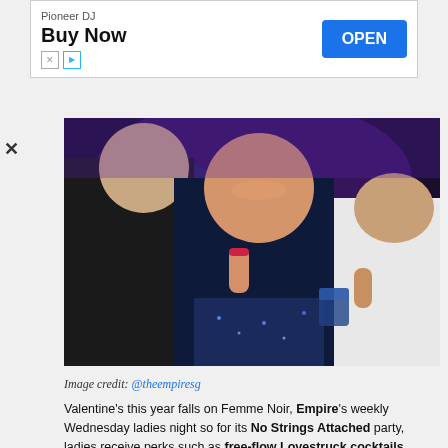[Figure (other): Advertisement banner: Pioneer DJ, Buy Now, OPEN button]
[Figure (photo): Nightclub party scene with people holding drinks and smiling]
Image credit: @theempiresg
Valentine's this year falls on Femme Noir, Empire's weekly Wednesday ladies night so for its No Strings Attached party, ladies receive perks such as free-flow Lovestruck cocktails between 5PM – 8PM when they RSVP for a guestlist. They may also receive a surprise cocktail with a note through Empire's Wingman Me game, where interested men can team up with a bartender to impress the apple of their eye.